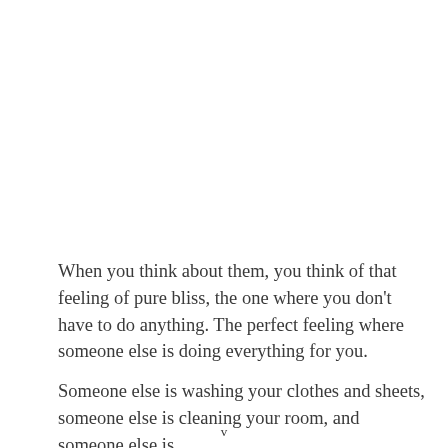When you think about them, you think of that feeling of pure bliss, the one where you don't have to do anything. The perfect feeling where someone else is doing everything for you.
Someone else is washing your clothes and sheets, someone else is cleaning your room, and someone else is
v